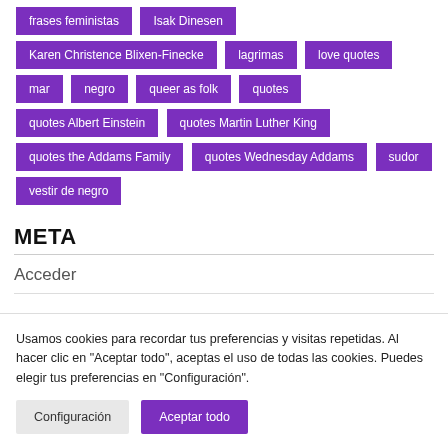frases feministas
Isak Dinesen
Karen Christence Blixen-Finecke
lagrimas
love quotes
mar
negro
queer as folk
quotes
quotes Albert Einstein
quotes Martin Luther King
quotes the Addams Family
quotes Wednesday Addams
sudor
vestir de negro
META
Acceder
Usamos cookies para recordar tus preferencias y visitas repetidas. Al hacer clic en "Aceptar todo", aceptas el uso de todas las cookies. Puedes elegir tus preferencias en "Configuración".
Configuración
Aceptar todo